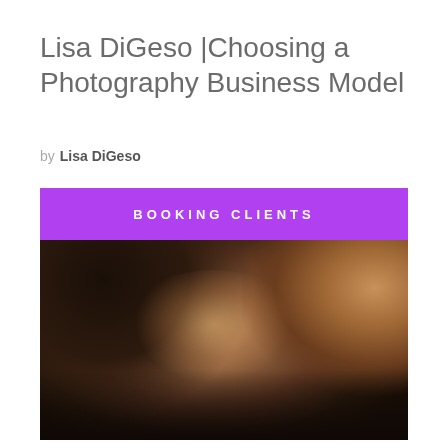Lisa DiGeso |Choosing a Photography Business Model
by  Lisa DiGeso
[Figure (photo): A close-up portrait photograph of a woman with curly dark hair, looking at the camera. She has a nose piercing and pink lips. The image is dark and moody with warm tones. Above the photo is a purple banner reading 'BOOKING CLIENTS'.]